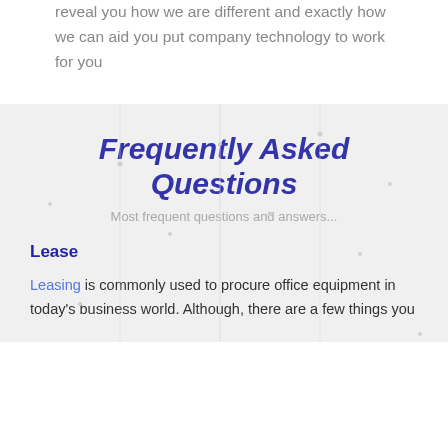reveal you how we are different and exactly how we can aid you put company technology to work for you
Frequently Asked Questions
Most frequent questions and answers...
Lease
Leasing is commonly used to procure office equipment in today's business world. Although, there are a few things you